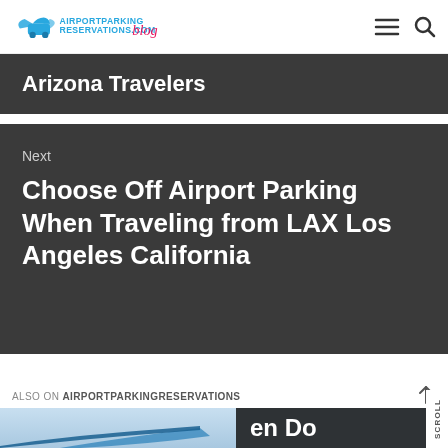AirportParkingReservations.com blog
Arizona Travelers
Next
Choose Off Airport Parking When Traveling from LAX Los Angeles California
ALSO ON AIRPORTPARKINGRESERVATIONS
[Figure (photo): Airplane wing tip visible against sky, blue tones]
[Figure (photo): Dark background with partial text 'en Do' in white bold letters]